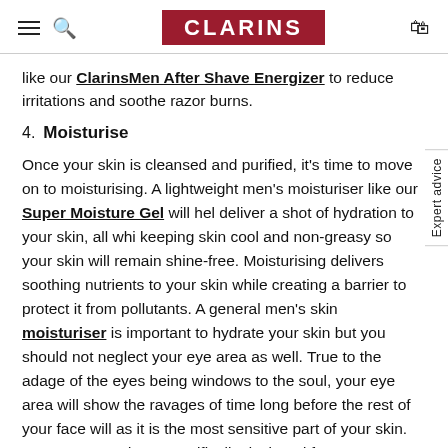CLARINS
like our ClarinsMen After Shave Energizer to reduce irritations and soothe razor burns.
4. Moisturise
Once your skin is cleansed and purified, it's time to move on to moisturising. A lightweight men's moisturiser like our Super Moisture Gel will help deliver a shot of hydration to your skin, all while keeping skin cool and non-greasy so your skin will remain shine-free. Moisturising delivers soothing nutrients to your skin while creating a barrier to protect it from pollutants. A general men's skin moisturiser is important to hydrate your skin but you should not neglect your eye area as well. True to the adage of the eyes being windows to the soul, your eye area will show the ravages of time long before the rest of your face will as it is the most sensitive part of your skin. Hence eye products specifically designed for